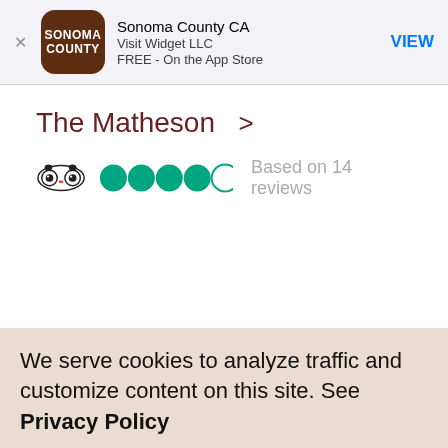Sonoma County CA | Visit Widget LLC | FREE - On the App Store | VIEW
The Matheson >
[Figure (other): TripAdvisor owl logo with 4 out of 5 green circles rating and text 'Based on 14 reviews']
We serve cookies to analyze traffic and customize content on this site. See Privacy Policy